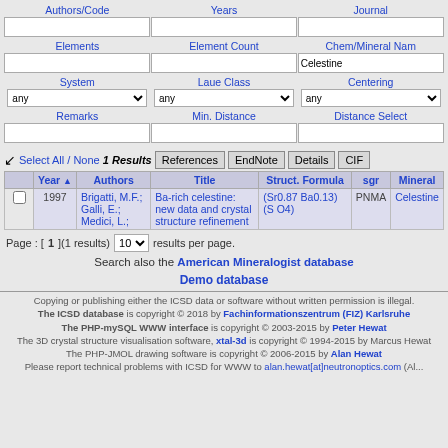|  | Year ▲ | Authors | Title | Struct. Formula | sgr | Mineral |
| --- | --- | --- | --- | --- | --- | --- |
| ☐ | 1997 | Brigatti, M.F.; Galli, E.; Medici, L.; | Ba-rich celestine: new data and crystal structure refinement | (Sr0.87 Ba0.13)(S O4) | PNMA | Celestine |
Page : [1](1 results) 10 results per page.
Search also the American Mineralogist database
Demo database
Copying or publishing either the ICSD data or software without written permission is illegal.
The ICSD database is copyright © 2018 by Fachinformationszentrum (FIZ) Karlsruhe
The PHP-mySQL WWW interface is copyright © 2003-2015 by Peter Hewat
The 3D crystal structure visualisation software, xtal-3d is copyright © 1994-2015 by Marcus Hewat
The PHP-JMOL drawing software is copyright © 2006-2015 by Alan Hewat
Please report technical problems with ICSD for WWW to alan.hewat[at]neutronoptics.com (Al...